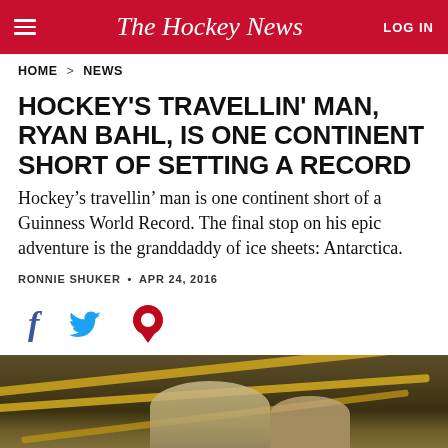The Hockey News | LOG IN
HOME > NEWS
HOCKEY'S TRAVELLIN' MAN, RYAN BAHL, IS ONE CONTINENT SHORT OF SETTING A RECORD
Hockey’s travellin’ man is one continent short of a Guinness World Record. The final stop on his epic adventure is the granddaddy of ice sheets: Antarctica.
RONNIE SHUKER • APR 24, 2016
[Figure (photo): Social sharing icons: Facebook (f), Twitter (bird), Pinterest (P)]
[Figure (photo): Photo of people in an arena or large indoor venue with yellow structural beams visible overhead]